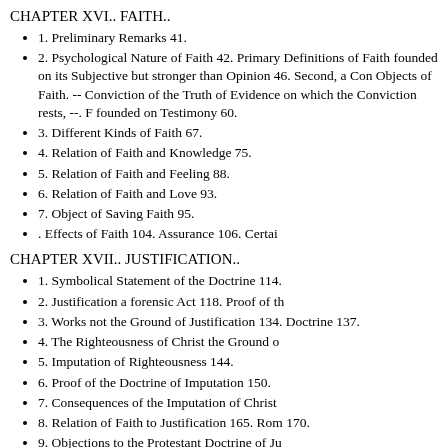CHAPTER XVI.. FAITH..
1. Preliminary Remarks 41.
2. Psychological Nature of Faith 42. Primary Definitions of Faith founded on its Subjective but stronger than Opinion 46. Second, a Con Objects of Faith. -- Conviction of the Truth of Evidence on which the Conviction rests, --. F founded on Testimony 60.
3. Different Kinds of Faith 67.
4. Relation of Faith and Knowledge 75.
5. Relation of Faith and Feeling 88.
6. Relation of Faith and Love 93.
7. Object of Saving Faith 95.
. Effects of Faith 104. Assurance 106. Certai
CHAPTER XVII.. JUSTIFICATION..
1. Symbolical Statement of the Doctrine 114.
2. Justification a forensic Act 118. Proof of th
3. Works not the Ground of Justification 134. Doctrine 137.
4. The Righteousness of Christ the Ground o
5. Imputation of Righteousness 144.
6. Proof of the Doctrine of Imputation 150.
7. Consequences of the Imputation of Christ
8. Relation of Faith to Justification 165. Rom 170.
9. Objections to the Protestant Doctrine of Ju
10. Departures from the Protestant Doctrine